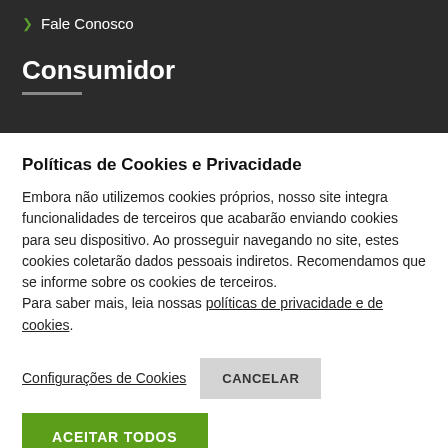Fale Conosco
Consumidor
Políticas de Cookies e Privacidade
Embora não utilizemos cookies próprios, nosso site integra funcionalidades de terceiros que acabarão enviando cookies para seu dispositivo. Ao prosseguir navegando no site, estes cookies coletarão dados pessoais indiretos. Recomendamos que se informe sobre os cookies de terceiros.
Para saber mais, leia nossas políticas de privacidade e de cookies.
Configurações de Cookies
CANCELAR
ACEITAR TODOS